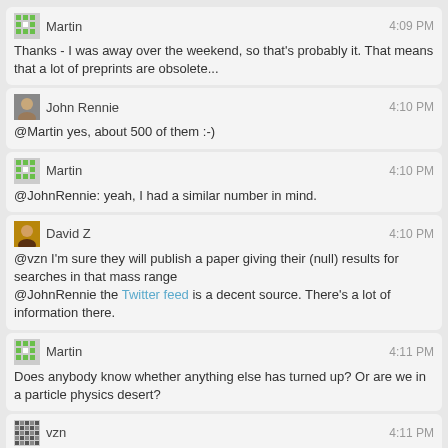Martin 4:09 PM
Thanks - I was away over the weekend, so that's probably it. That means that a lot of preprints are obsolete...
John Rennie 4:10 PM
@Martin yes, about 500 of them :-)
Martin 4:10 PM
@JohnRennie: yeah, I had a similar number in mind.
David Z 4:10 PM
@vzn I'm sure they will publish a paper giving their (null) results for searches in that mass range
@JohnRennie the Twitter feed is a decent source. There's a lot of information there.
Martin 4:11 PM
Does anybody know whether anything else has turned up? Or are we in a particle physics desert?
vzn 4:11 PM
@JohnRennie saw an interesting one (announcement pg that is) on promoting physics in the media, wish it was recorded and/ or transcript
John Rennie 4:12 PM
@Martin I haven't been through the ICHEP talks in any details, but it does look a bit bleak at the moment.
Terry Bollinger 4:12 PM